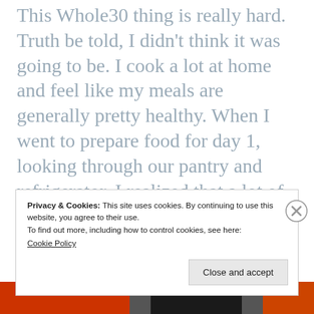This Whole30 thing is really hard. Truth be told, I didn't think it was going to be. I cook a lot at home and feel like my meals are generally pretty healthy. When I went to prepare food for day 1, looking through our pantry and refrigerator, I realized that a lot of what we eat is not on the approved list. Pasta sauce has added sugar. So does almond milk. Nearly everything does. Cheese is a staple in our
Privacy & Cookies: This site uses cookies. By continuing to use this website, you agree to their use.
To find out more, including how to control cookies, see here:
Cookie Policy
Close and accept
[Figure (other): Bottom strip showing partial image of a book or product with orange and dark spine/cover elements]